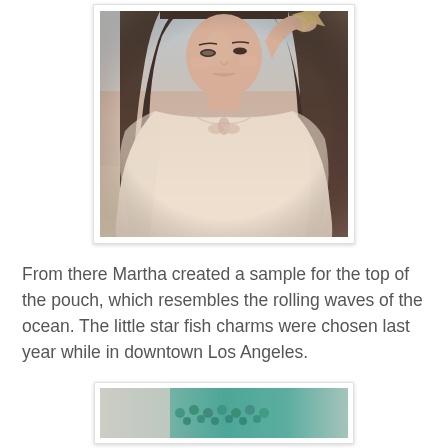[Figure (photo): A young woman with long dark hair holding a starfish up near her face, wearing a light beige loose top with shell/flower decorations, photographed at the beach in a vintage/soft style]
From there Martha created a sample for the top of the pouch, which resembles the rolling waves of the ocean. The little star fish charms were chosen last year while in downtown Los Angeles.
[Figure (photo): Partial bottom photo showing what appears to be teal/green beads or jewelry against a light background]